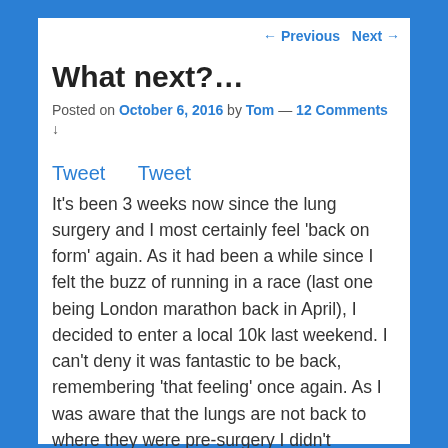← Previous   Next →
What next?…
Posted on October 6, 2016 by Tom — 12 Comments ↓
Tweet
Tweet
It's been 3 weeks now since the lung surgery and I most certainly feel 'back on form' again. As it had been a while since I felt the buzz of running in a race (last one being London marathon back in April), I decided to enter a local 10k last weekend. I can't deny it was fantastic to be back, remembering 'that feeling' once again. As I was aware that the lungs are not back to where they were pre-surgery I didn't